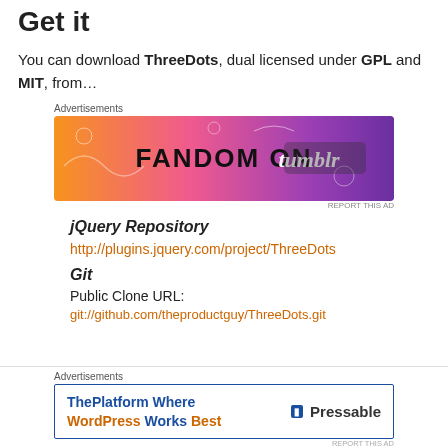Get it
You can download ThreeDots, dual licensed under GPL and MIT, from…
[Figure (other): Fandom on Tumblr advertisement banner with orange-to-purple gradient background and decorative doodles]
jQuery Repository
http://plugins.jquery.com/project/ThreeDots
Git
Public Clone URL:
git://github.com/theproductguy/ThreeDots.git
[Figure (other): ThePlatform Where WordPress Works Best — Pressable advertisement banner]